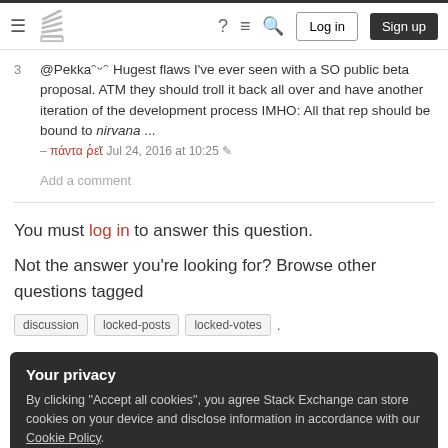Stack Exchange navigation bar with hamburger menu, logo, icons, Log in and Sign up buttons
@Pekkaᵔᵕᵔ Hugest flaws I've ever seen with a SO public beta proposal. ATM they should troll it back all over and have another iteration of the development process IMHO: All that rep should be bound to nirvana ... – πάντα ῥεῖ Jul 24, 2016 at 10:25
Add a comment
You must log in to answer this question.
Not the answer you're looking for? Browse other questions tagged discussion locked-posts locked-votes .
Your privacy
By clicking "Accept all cookies", you agree Stack Exchange can store cookies on your device and disclose information in accordance with our Cookie Policy.
Accept all cookies   Customize settings